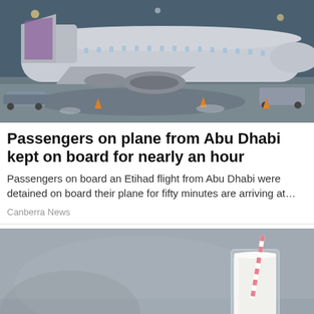[Figure (photo): Airplane on tarmac at night, appears to be an Etihad aircraft at an airport gate with service vehicles nearby]
Passengers on plane from Abu Dhabi kept on board for nearly an hour
Passengers on board an Etihad flight from Abu Dhabi were detained on board their plane for fifty minutes are arriving at…
Canberra News
[Figure (photo): A tall glass of milk with a striped straw, and a small bowl of what appears to be white powder or cream, on a gray background]